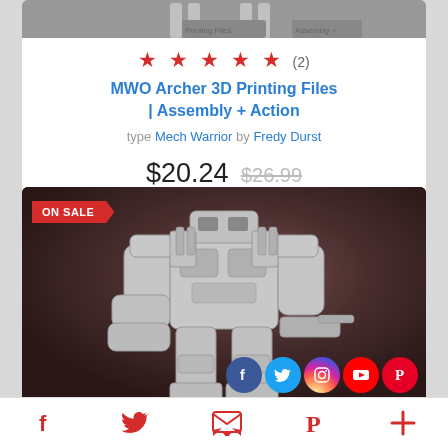[Figure (photo): Top portion of a 3D printed mech warrior model, grey background]
★ ★ ★ ★ ★ (2)
MWO Archer 3D Printing Files | Assembly + Action
type Mech Warrior by Fredy Durst
$20.24 $26.99
[Figure (photo): 3D rendered mech warrior robot on dark brownish background with ON SALE badge and social media icons overlay]
[Figure (infographic): Bottom navigation bar with Facebook, Twitter, email/newsletter, Pinterest, and more icons in red]